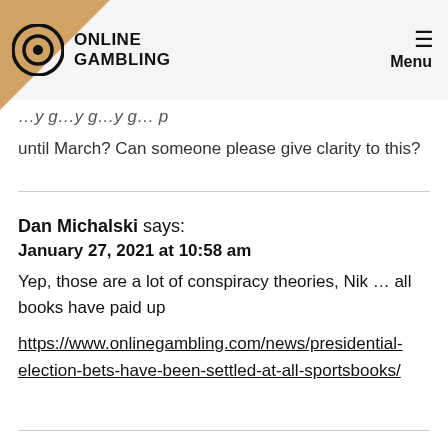ONLINE GAMBLING | Menu
until March? Can someone please give clarity to this?
Dan Michalski says:
January 27, 2021 at 10:58 am
Yep, those are a lot of conspiracy theories, Nik … all books have paid up
https://www.onlinegambling.com/news/presidential-election-bets-have-been-settled-at-all-sportsbooks/